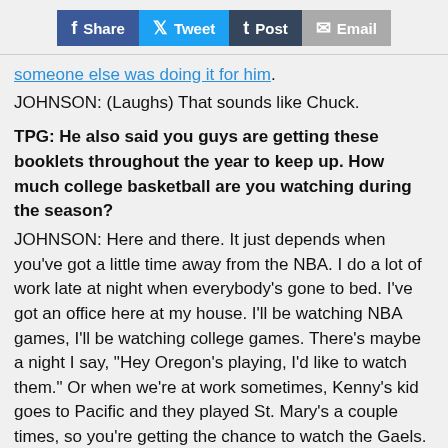Share  Tweet  Post  Email
someone else was doing it for him.
JOHNSON: (Laughs) That sounds like Chuck.
TPG: He also said you guys are getting these booklets throughout the year to keep up. How much college basketball are you watching during the season?
JOHNSON: Here and there. It just depends when you've got a little time away from the NBA. I do a lot of work late at night when everybody's gone to bed. I've got an office here at my house. I'll be watching NBA games, I'll be watching college games. There's maybe a night I say, "Hey Oregon's playing, I'd like to watch them." Or when we're at work sometimes, Kenny's kid goes to Pacific and they played St. Mary's a couple times, so you're getting the chance to watch the Gaels. So you just kind of pick and choose. There are times you want to watch a game, but you're so deep in